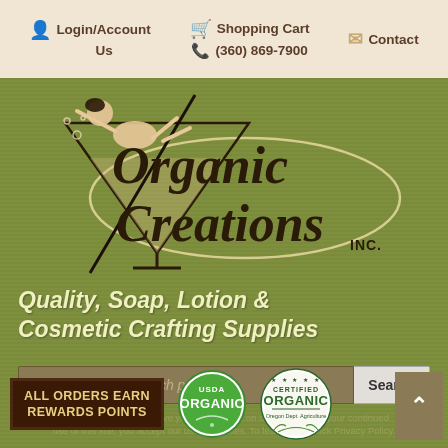Login/Account  Shopping Cart  Contact Us  (360) 869-7900
[Figure (logo): Organic Creations Inc. logo — vintage pin-up woman sitting in a martini glass, with cursive 'Organic Creations' text and oval outline, on olive green background]
Quality, Soap, Lotion & Cosmetic Crafting Supplies
Search products...
We use cookies to improve your experience on our website. By your continued use of this site, you accept our use of cookies. To learn more, click Privacy Policy.
ALL ORDERS EARN REWARDS POINTS
[Figure (logo): USDA Organic circular green and white seal]
[Figure (logo): Certified Organic — Oregon Dept Agriculture circular seal with stars]